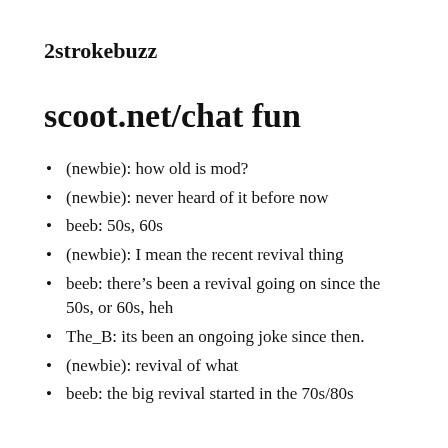2strokebuzz
scoot.net/chat fun
(newbie): how old is mod?
(newbie): never heard of it before now
beeb: 50s, 60s
(newbie): I mean the recent revival thing
beeb: there’s been a revival going on since the 50s, or 60s, heh
The_B: its been an ongoing joke since then.
(newbie): revival of what
beeb: the big revival started in the 70s/80s